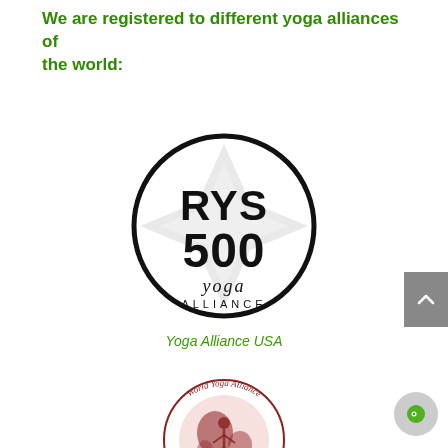We are registered to different yoga alliances of the world:
[Figure (logo): RYS 500 Yoga Alliance circular logo with black border, bold text 'RYS 500' and italic 'yoga ALLIANCE' below, decorative lotus star in background]
Yoga Alliance USA
[Figure (logo): World Yoga Alliance circular logo with red/maroon globe and yoga figure, text 'World Yoga Alliance' around the circle]